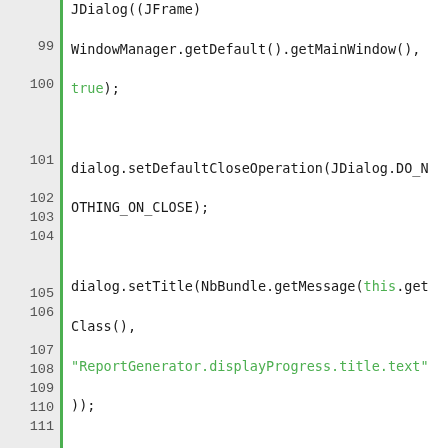[Figure (screenshot): Java source code editor showing lines 99-117 with syntax highlighting. Green keywords include 'true', 'this', string literals, 'new', 'public void'. Line numbers shown in grey left gutter with green vertical bar separator.]